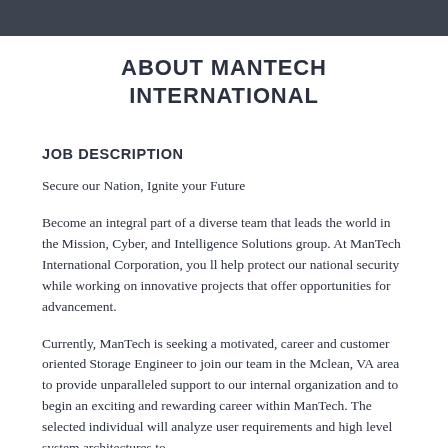ABOUT MANTECH INTERNATIONAL
JOB DESCRIPTION
Secure our Nation, Ignite your Future
Become an integral part of a diverse team that leads the world in the Mission, Cyber, and Intelligence Solutions group. At ManTech International Corporation, you ll help protect our national security while working on innovative projects that offer opportunities for advancement.
Currently, ManTech is seeking a motivated, career and customer oriented Storage Engineer to join our team in the Mclean, VA area to provide unparalleled support to our internal organization and to begin an exciting and rewarding career within ManTech. The selected individual will analyze user requirements and high level system architectures to